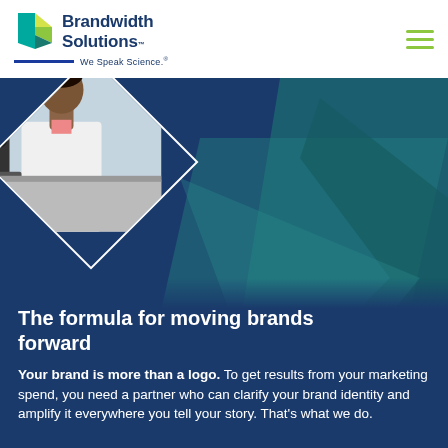Brandwidth Solutions - We Speak Science
[Figure (photo): Scientist (Black woman in white lab coat) looking through a microscope, shown in a diamond-shaped cropped frame, on a dark blue background with geometric teal/green triangle shapes]
The formula for moving brands forward
Your brand is more than a logo. To get results from your marketing spend, you need a partner who can clarify your brand identity and amplify it everywhere you tell your story. That's what we do.